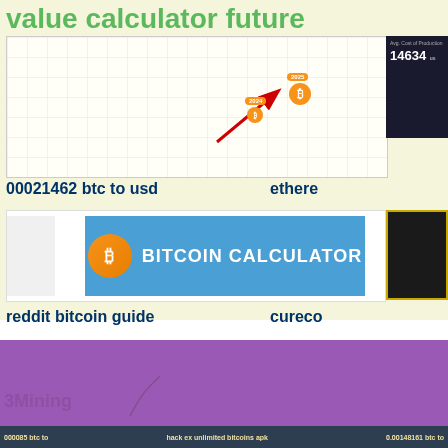value calculator future
[Figure (infographic): Bitcoin value calculator future chart with 2024 and 2025 orange badge markers and upward arrow, grid background]
[Figure (infographic): Dark card showing Avg. Cost of Production: 14634 usd]
00021462 btc to usd
ethere
[Figure (screenshot): Bitcoin Calculator banner image with orange coin logo and blue background]
[Figure (screenshot): Dark card with gold border]
reddit bitcoin guide
cureco
Bitcoin P
You are in the correct place then. Most of the apps available on Google pla platforms. But do you know you can still use any of your favorite Android o PC platform not available? Yes, they do exits a few simple tricks you can u them as you use on Android smartphones. It has got really good rating poi mining software windows 8.1 available on Google play store. Most of the a platform.
000085 btc to     hack ex unlimited bitcoins apk     0.00148161 btc to